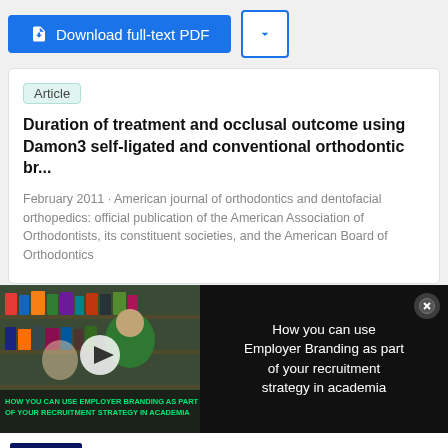[Figure (screenshot): Blue 'Download full-text PDF' button with document icon, and a dropdown chevron button to its right]
Article
Duration of treatment and occlusal outcome using Damon3 self-ligated and conventional orthodontic br...
February 2011 · American journal of orthodontics and dentofacial orthopedics: official publication of the American Association of Orthodontists, its constituent societies, and the American Board of Orthodontics
[Figure (photo): Video thumbnail showing students in a library, with play button overlay and text: HOW YOU CAN USE EMPLOYER BRANDING AS PART OF YOUR RECRUITMENT STRATEGY IN ACADEMIA]
How you can use Employer Branding as part of your recruitment strategy in academia
[Figure (photo): ThermoFisher Scientific ad with molecular diagnostics handbook cover image on dark blue background]
Molecular diagnostics handbook